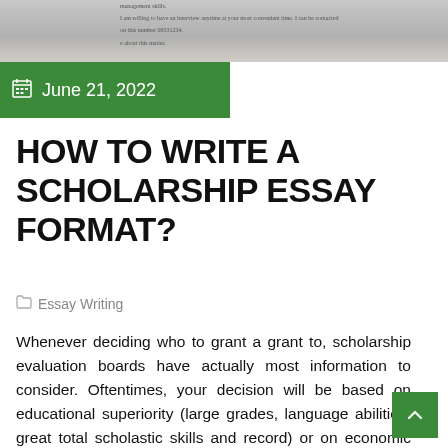[Figure (screenshot): Partial view of a document page with faint text about management skills and interview contact information, used as background image.]
June 21, 2022
HOW TO WRITE A SCHOLARSHIP ESSAY FORMAT?
Essay Writing
Whenever deciding who to grant a grant to, scholarship evaluation boards have actually most information to consider. Oftentimes, your decision will be based on educational superiority (large grades, language abilities, great total scholastic skills and record) or on economic aspects (reasonable earnings, family problems). Most of the time, you have to attach a scholarship application...